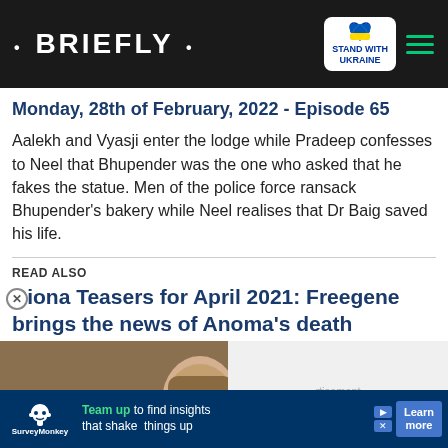• BRIEFLY •
Monday, 28th of February, 2022 - Episode 65
Aalekh and Vyasji enter the lodge while Pradeep confesses to Neel that Bhupender was the one who asked that he fakes the statue. Men of the police force ransack Bhupender's bakery while Neel realises that Dr Baig saved his life.
READ ALSO
Riona Teasers for April 2021: Freegene brings the news of Anoma's death
[Figure (screenshot): Video thumbnail showing two people (a man and a woman) in what appears to be a film scene, with a play button overlay and caption bar reading 'SHE DIRECTED THE END OF HER MARRIAGE']
[Figure (screenshot): Advertisement banner for SurveyMonkey with text 'Team up to find insights that shake things up' and 'Learn more' button]